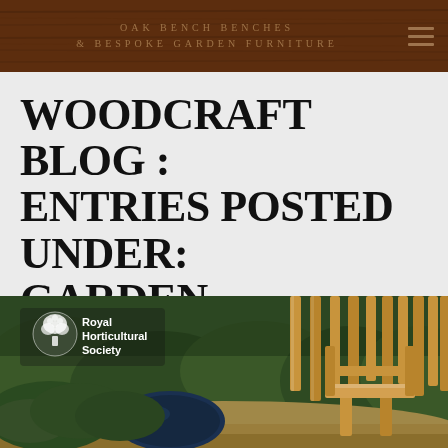OAK BENCH BENCHES & BESPOKE GARDEN FURNITURE
WOODCRAFT BLOG : Entries posted under: Garden Structures
[Figure (photo): Garden scene with wooden vertical post fence/structure, a circular pond with dark water, lush green foliage and ferns, sandy gravel ground, and a wooden bench on the right. Royal Horticultural Society logo overlay in top left corner.]